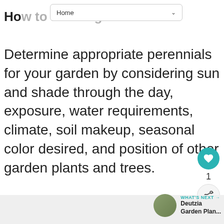Home
How to Planting Perennials
Determine appropriate perennials for your garden by considering sun and shade through the day, exposure, water requirements, climate, soil makeup, seasonal color desired, and position of other garden plants and trees.
[Figure (other): Heart/favorite button (teal circle with heart icon), count '1', share button (light circle with share icon)]
[Figure (other): WHAT'S NEXT arrow label with thumbnail image and text 'Deutzia Garden Plan...']